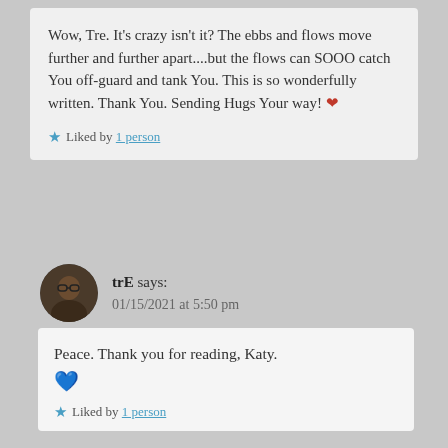Wow, Tre. It’s crazy isn’t it? The ebbs and flows move further and further apart....but the flows can SOOO catch You off-guard and tank You. This is so wonderfully written. Thank You. Sending Hugs Your way! ❤
★ Liked by 1 person
trE says: 01/15/2021 at 5:50 pm
Peace. Thank you for reading, Katy. 💙
★ Liked by 1 person